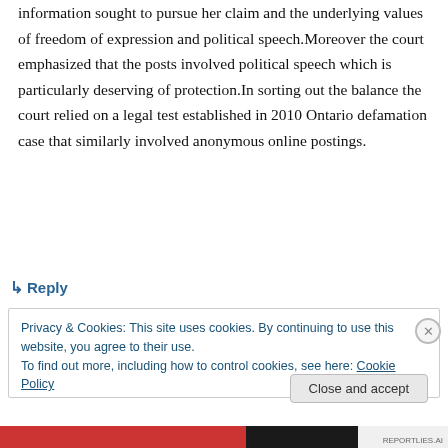information sought to pursue her claim and the underlying values of freedom of expression and political speech.Moreover the court emphasized that the posts involved political speech which is particularly deserving of protection.In sorting out the balance the court relied on a legal test established in 2010 Ontario defamation case that similarly involved anonymous online postings.
↳ Reply
Privacy & Cookies: This site uses cookies. By continuing to use this website, you agree to their use. To find out more, including how to control cookies, see here: Cookie Policy
Close and accept